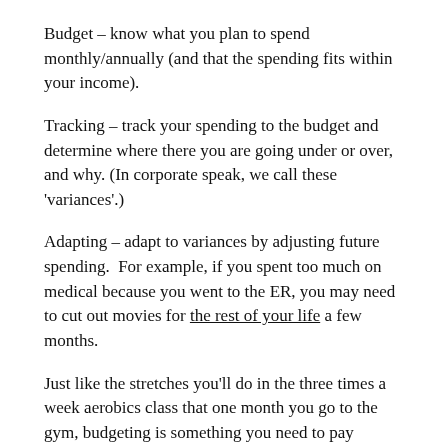Budget – know what you plan to spend monthly/annually (and that the spending fits within your income).
Tracking – track your spending to the budget and determine where there you are going under or over, and why. (In corporate speak, we call these 'variances'.)
Adapting – adapt to variances by adjusting future spending.  For example, if you spent too much on medical because you went to the ER, you may need to cut out movies for the rest of your life a few months.
Just like the stretches you'll do in the three times a week aerobics class that one month you go to the gym, budgeting is something you need to pay attention to frequently (at least bi-weekly) but unlike the gym, you need to do it all year.
Tools for you to manage your